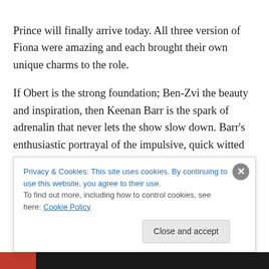Prince will finally arrive today. All three version of Fiona were amazing and each brought their own unique charms to the role.
If Obert is the strong foundation; Ben-Zvi the beauty and inspiration, then Keenan Barr is the spark of adrenalin that never lets the show slow down. Barr's enthusiastic portrayal of the impulsive, quick witted Donkey was unmistakably an audience favorite. It was the role that he was born to play and Barr embraces the character of Donkey, bouncing between topics, pantomiming his
Privacy & Cookies: This site uses cookies. By continuing to use this website, you agree to their use.
To find out more, including how to control cookies, see here: Cookie Policy